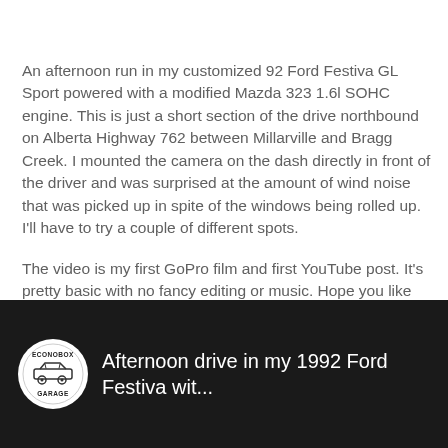An afternoon run in my customized 92 Ford Festiva GL Sport powered with a modified Mazda 323 1.6l SOHC engine. This is just a short section of the drive northbound on Alberta Highway 762 between Millarville and Bragg Creek. I mounted the camera on the dash directly in front of the driver and was surprised at the amount of wind noise that was picked up in spite of the windows being rolled up. I'll have to try a couple of different spots.
The video is my first GoPro film and first YouTube post. It's pretty basic with no fancy editing or music. Hope you like it...
[Figure (screenshot): YouTube video thumbnail with Econobox Garage logo (white circle with car illustration) on dark background, showing title 'Afternoon drive in my 1992 Ford Festiva wit...']